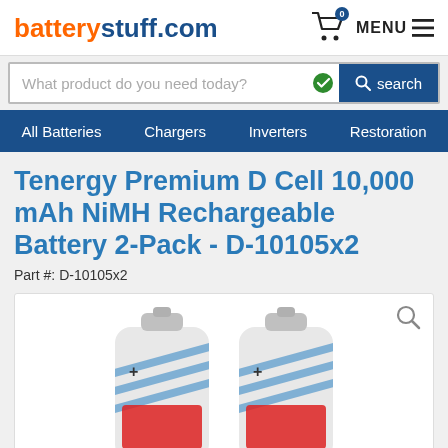batterystuff.com
What product do you need today?
All Batteries  Chargers  Inverters  Restoration
Tenergy Premium D Cell 10,000 mAh NiMH Rechargeable Battery 2-Pack - D-10105x2
Part #: D-10105x2
[Figure (photo): Two Tenergy Premium D Cell NiMH rechargeable batteries side by side, white cylindrical batteries with blue diagonal stripe design and red Tenergy logo label, positive terminal visible on top.]